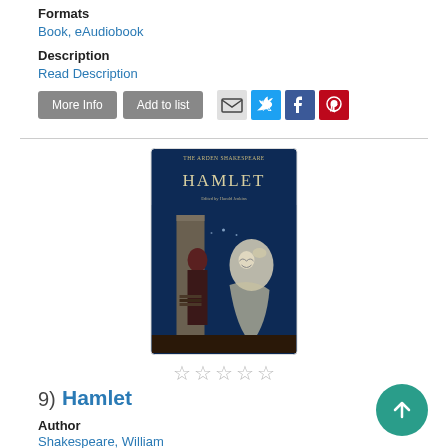Formats
Book, eAudiobook
Description
Read Description
More Info
Add to list
[Figure (illustration): Book cover of 'Hamlet' from The Arden Shakespeare series, edited by Harold Jenkins, showing a dark painted scene with a figure looking at a ghostly apparition holding its head]
9)  Hamlet
Author
Shakespeare, William